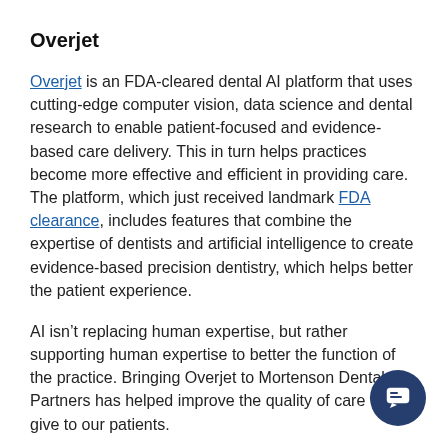Overjet
Overjet is an FDA-cleared dental AI platform that uses cutting-edge computer vision, data science and dental research to enable patient-focused and evidence-based care delivery. This in turn helps practices become more effective and efficient in providing care. The platform, which just received landmark FDA clearance, includes features that combine the expertise of dentists and artificial intelligence to create evidence-based precision dentistry, which helps better the patient experience.
AI isn’t replacing human expertise, but rather supporting human expertise to better the function of the practice. Bringing Overjet to Mortenson Dental Partners has helped improve the quality of care we give to our patients.